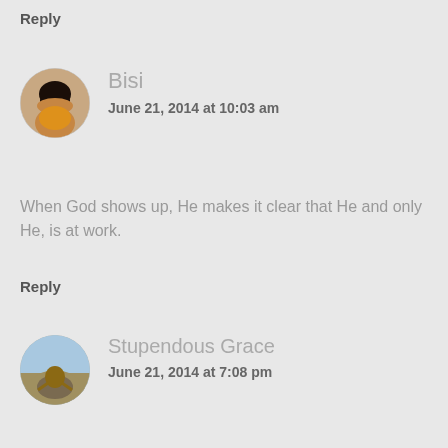Reply
Bisi
June 21, 2014 at 10:03 am
When God shows up, He makes it clear that He and only He, is at work.
Reply
Stupendous Grace
June 21, 2014 at 7:08 pm